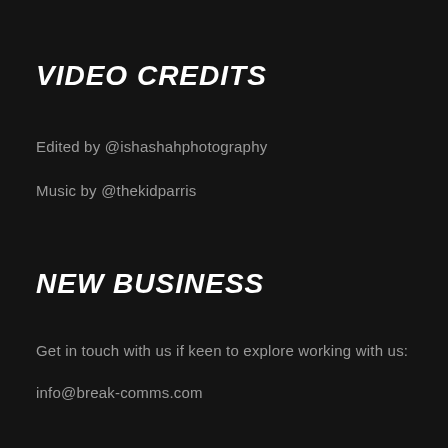VIDEO CREDITS
Edited by @ishashahphotography
Music by @thekidparris
NEW BUSINESS
Get in touch with us if keen to explore working with us:
info@break-comms.com